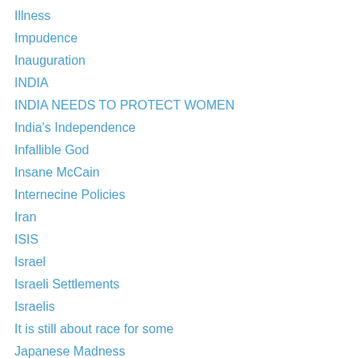Illness
Impudence
Inauguration
INDIA
INDIA NEEDS TO PROTECT WOMEN
India's Independence
Infallible God
Insane McCain
Internecine Policies
Iran
ISIS
Israel
Israeli Settlements
Israelis
It is still about race for some
Japanese Madness
JESUS CHRIST
John F. Kennedy
John McCain
Josef Stalin